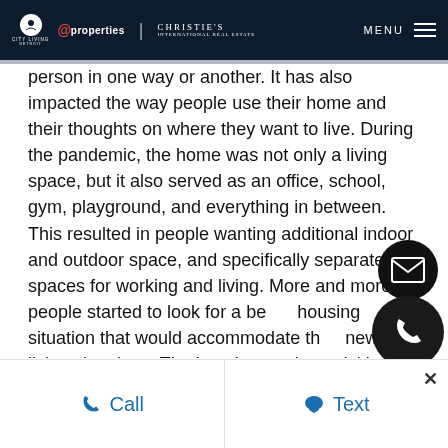City Living Detroit | @properties | Christie's International Real Estate — MENU
person in one way or another. It has also impacted the way people use their home and their thoughts on where they want to live. During the pandemic, the home was not only a living space, but it also served as an office, school, gym, playground, and everything in between. This resulted in people wanting additional indoor and outdoor space, and specifically separate spaces for working and living. More and more people started to look for a better housing situation that would accommodate their new living situations. The housing market quickly became a seller's market.
Call   Text